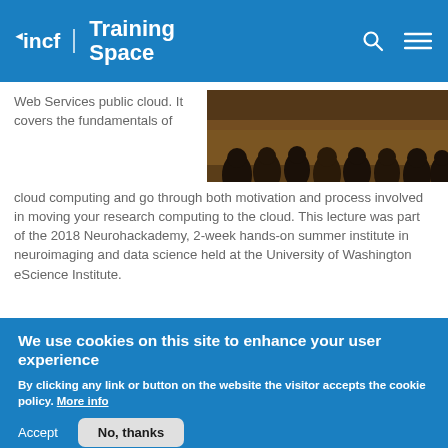incf | Training Space
[Figure (photo): Audience viewed from behind in a darkened lecture hall with warm amber lighting]
Web Services public cloud. It covers the fundamentals of cloud computing and go through both motivation and process involved in moving your research computing to the cloud. This lecture was part of the 2018 Neurohackademy, 2-week hands-on summer institute in neuroimaging and data science held at the University of Washington eScience Institute.
We use cookies on this site to enhance your user experience
By clicking any link or button on the website the visitor accepts the cookie policy. More info
Accept
No, thanks